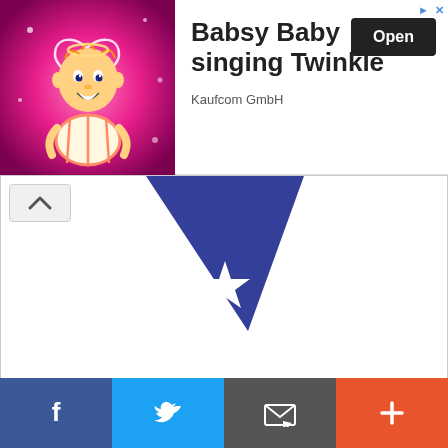[Figure (screenshot): Mobile app screenshot showing an advertisement banner for 'Babsy Baby singing Twinkle' by Kaufcom GmbH with an Open button, a blue triangle/star chevron UI element indicating collapsible content, and a Pure Flix VIP Ambassador badge logo, plus a bottom navigation bar with Facebook, Twitter, email/share, and plus icons.]